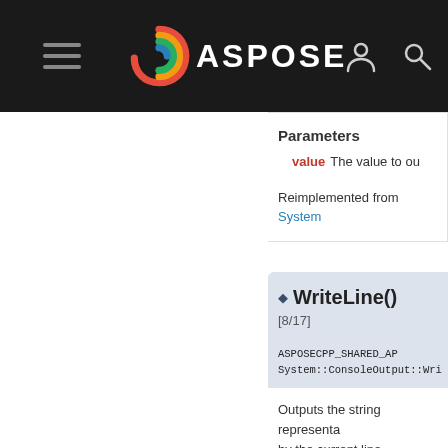[Figure (logo): Aspose logo with spiral icon and white ASPOSE text on dark nav bar]
Parameters
value  The value to ou...
Reimplemented from System...
◆ WriteLine() [8/17]
ASPOSECPP_SHARED_AP...
System::ConsoleOutput::Wri...
Outputs the string representa... by the current line terminator... the current object.
Parameters
value  The value to o...